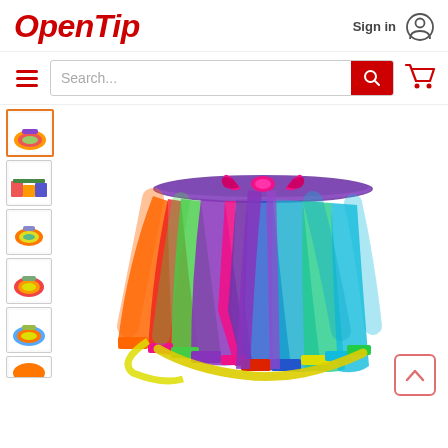OpenTip — Sign in
[Figure (screenshot): OpenTip e-commerce website screenshot showing header with logo, search bar, product thumbnail gallery on the left, and main product image of a colorful rainbow tutu skirt with ribbons and bow in the center.]